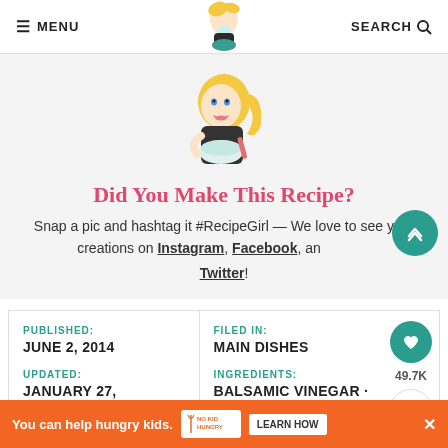☰ MENU | [Logo] | SEARCH 🔍
[Figure (illustration): RecipeGirl cartoon mascot illustration - blonde woman holding a mixing bowl]
Did You Make This Recipe?
Snap a pic and hashtag it #RecipeGirl — We love to see your creations on Instagram, Facebook, and Twitter!
PUBLISHED: JUNE 2, 2014 | UPDATED: JANUARY 27,
FILED IN: MAIN DISHES | INGREDIENTS: BALSAMIC VINEGAR ·
You can help hungry kids. NO KID HUNGRY LEARN HOW